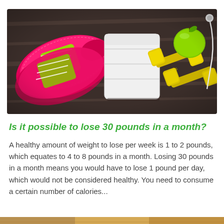[Figure (photo): Flat-lay photo of fitness items on a dark wood background: pink running shoes with neon green laces on the left, a folded white towel in the center, two yellow 1.5KG dumbbells, a green apple, and white earbuds on the right.]
Is it possible to lose 30 pounds in a month?
A healthy amount of weight to lose per week is 1 to 2 pounds, which equates to 4 to 8 pounds in a month. Losing 30 pounds in a month means you would have to lose 1 pound per day, which would not be considered healthy. You need to consume a certain number of calories...
[Figure (photo): Partial bottom strip of another photo, cropped — appears to show an outdoor or food-related image in warm tones.]